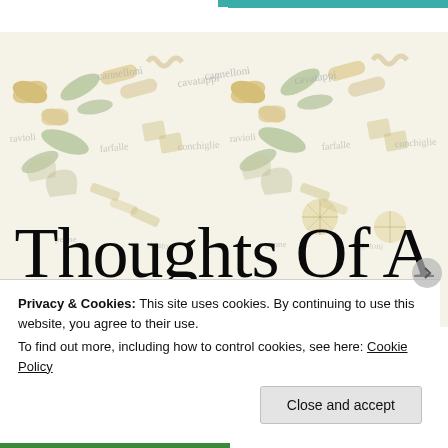[Figure (illustration): Blog header image for 'Thoughts Of A Carboholic' — a decorative background with illustrated pasta shapes (farfalle, ravioli, conchiglie, cannelloni, cavatappi, penne) in muted gold and green watercolor tones with cursive pasta name labels, overlaid with large serif display text reading 'Thoughts Of A Carboholic']
Privacy & Cookies: This site uses cookies. By continuing to use this website, you agree to their use.
To find out more, including how to control cookies, see here: Cookie Policy
Close and accept